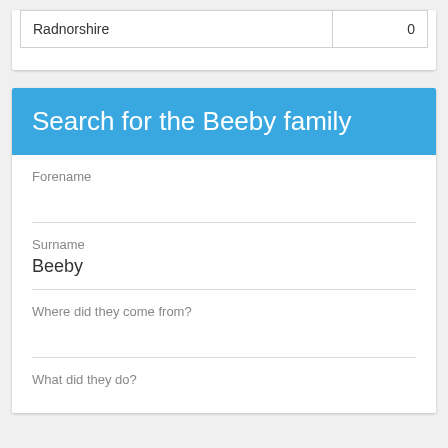| Radnorshire | 0 |
Search for the Beeby family
Forename
Surname
Beeby
Where did they come from?
What did they do?